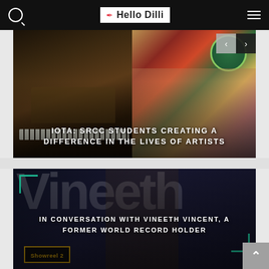Hello Dilli
[Figure (photo): Hero image carousel showing two artworks: left panel with a dark musical instrument painting and right panel with a colorful folk art painting of women figures. Navigation arrows visible top-right.]
IOTA: SRCC STUDENTS CREATING A DIFFERENCE IN THE LIVES OF ARTISTS
[Figure (photo): Dark stage photo of a man holding a microphone with large stylized text 'Vineeth' in background and teal corner brackets. Showreel 2 label at bottom left.]
IN CONVERSATION WITH VINEETH VINCENT, A FORMER WORLD RECORD HOLDER